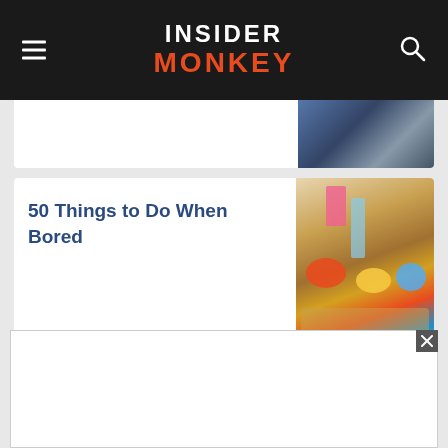Insider Monkey
[Figure (photo): Partial article card image at top, cut off]
50 Things to Do When Bored
[Figure (photo): Craft supplies including wooden letters, play-dough containers, and a small pink chair on a table]
15 Most Valuable New Zealand Companies in the
[Figure (photo): City skyline at dusk/night with purple-pink sky, Auckland New Zealand]
[Figure (other): Advertisement overlay at bottom of screen with close button]